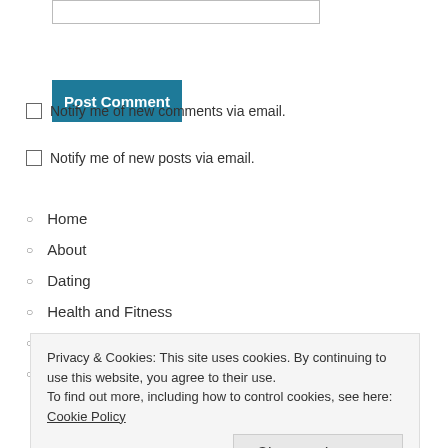[Figure (other): Input text box (form element)]
[Figure (other): Post Comment button (teal/blue background, white bold text)]
Notify me of new comments via email.
Notify me of new posts via email.
Home
About
Dating
Health and Fitness
Self Improvement
Contact
Privacy & Cookies: This site uses cookies. By continuing to use this website, you agree to their use.
To find out more, including how to control cookies, see here: Cookie Policy
Close and accept